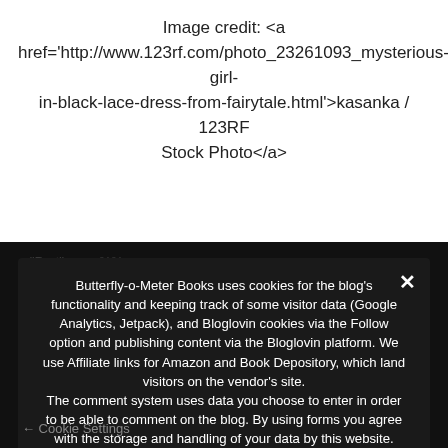Image credit: <a href='http://www.123rf.com/photo_23261093_mysterious-girl-in-black-lace-dress-from-fairytale.html'>kasanka / 123RF Stock Photo</a>
Butterfly-o-Meter Books uses cookies for the blog's functionality and keeping track of some visitor data (Google Analytics, Jetpack), and Bloglovin cookies via the Follow option and publishing content via the Bloglovin platform. We use Affiliate links for Amazon and Book Depository, which land visitors on the vendor's site.
The comment system uses data you choose to enter in order to be able to comment on the blog. By using forms you agree with the storage and handling of your data by this website.
Plug-in Cookies   Analytics   Bloglovin
Privacy Preferences
I Agree
Cookie Settings